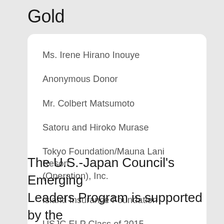Gold
Ms. Irene Hirano Inouye
Anonymous Donor
Mr. Colbert Matsumoto
Satoru and Hiroko Murase
Tokyo Foundation/Mauna Lani Resort (Operation), Inc.
Island Insurance Foundation
USJC ELP Class of 2015
The U.S.-Japan Council’s Emerging Leaders Program is supported by the